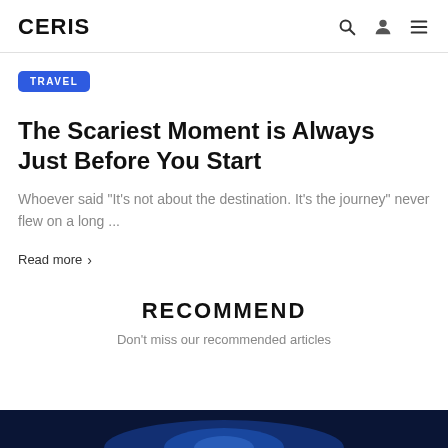CERIS
TRAVEL
The Scariest Moment is Always Just Before You Start
Whoever said “It’s not about the destination. It’s the journey” never flew on a long ...
Read more >
RECOMMEND
Don’t miss our recommended articles
[Figure (photo): Dark blue background strip at bottom of page with glowing blue light effect]